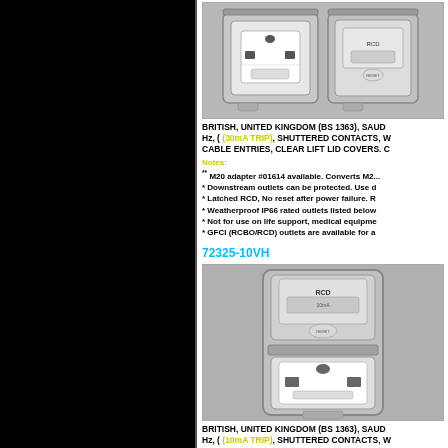[Figure (photo): Weatherproof electrical outlet with RCD protection, two-gang unit with clear lift lid covers, British BS 1363 standard]
BRITISH, UNITED KINGDOM (BS 1363), SAUD... Hz, ( (30mA TRIP), SHUTTERED CONTACTS, W... CABLE ENTRIES, CLEAR LIFT LID COVERS. C...
Notes:
** M20 adapter #01614 available. Converts M2...
* Downstream outlets can be protected. Use d...
* Latched RCD, No reset after power failure. R...
* Weatherproof IP66 rated outlets listed below...
* Not for use on life support, medical equipme...
* GFCI (RCBO/RCD) outlets are available for a...
72325-10VH
[Figure (photo): Single weatherproof electrical outlet with RCD protection module, British BS 1363 standard, clear lift lid cover, vertical orientation]
BRITISH, UNITED KINGDOM (BS 1363), SAUD... Hz, ( (10mA TRIP), SHUTTERED CONTACTS, W... CABLE ENTRIES, CLEAR LIFT LID COVERS...